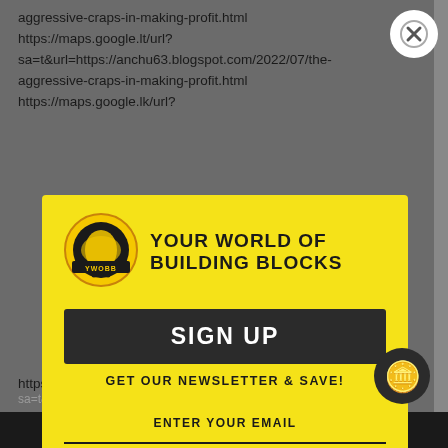aggressive-craps-in-making-profit.html
https://maps.google.lt/url?
sa=t&url=https://anchu63.blogspot.com/2022/07/the-aggressive-craps-in-making-profit.html
https://maps.google.lk/url?
[Figure (screenshot): YWOBB logo — circular globe icon with yellow and black coloring, with YWOBB text banner below and dinosaur silhouette, next to bold text reading 'YOUR WORLD OF BUILDING BLOCKS']
SIGN UP
GET OUR NEWSLETTER & SAVE!
ENTER YOUR EMAIL
SUBSCRIBE
https://maps.google.jo/url?
SHOW SIDEBAR +